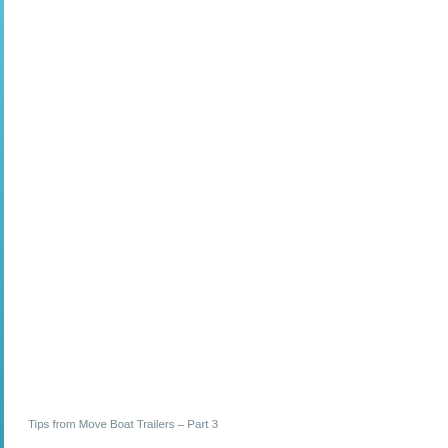Tips from Move Boat Trailers – Part 3